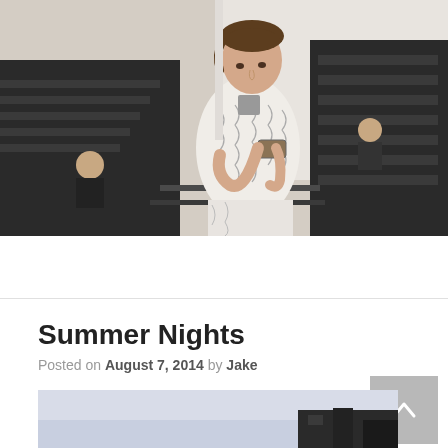[Figure (photo): A young man wearing a white patterned blazer and patterned pants looking down at his phone, standing among dark bleachers/seating at an outdoor venue. Other people visible in the background.]
Summer Nights
Posted on August 7, 2014 by Jake
[Figure (photo): Partial view of a building exterior against a sky, cropped at the bottom of the page.]